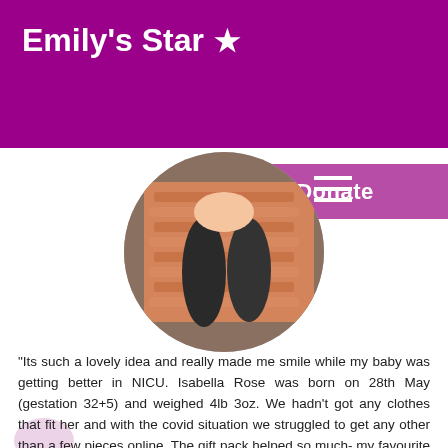Emily's Star ★
Donate
[Figure (photo): Circular cropped photo showing a baby wrapped in an orange/pink knitted blanket with dark clothing visible]
"Its such a lovely idea and really made me smile while my baby was getting better in NICU. Isabella Rose was born on 28th May (gestation 32+5) and weighed 4lb 3oz. We hadn't got any clothes that fit her and with the covid situation we struggled to get any other than a few pieces online. The gift pack helped so much- my favourite part was the hand knitted hat and cardigan which she went home in and I loved the